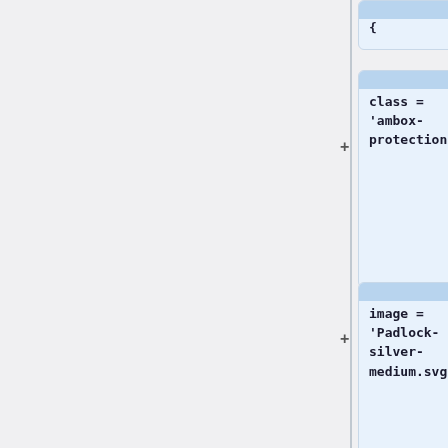[Figure (screenshot): A diff/comparison view showing code blocks on the right side with a light blue background. Each block shows code fragments: '{', "class = 'ambox-protection',", "image = 'Padlock-silver-medium.svg'", '},', 'notice = {', and "class = 'ambox-notice',". Each block has a blue header bar and a '+' symbol to its left indicating additions.]
{
class =
'ambox-
protection',
image =
'Padlock-
silver-
medium.svg'
},
notice = {
class =
'ambox-
notice',